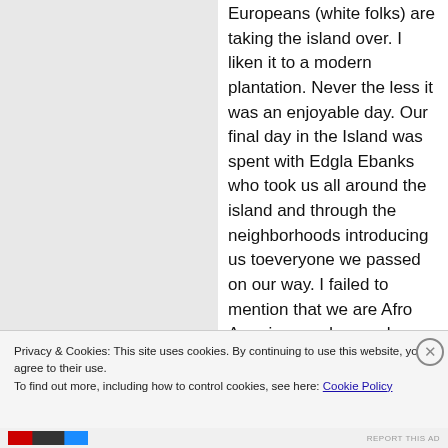Europeans (white folks) are taking the island over. I liken it to a modern plantation. Never the less it was an enjoyable day. Our final day in the Island was spent with Edgla Ebanks who took us all around the island and through the neighborhoods introducing us toeveryone we passed on our way. I failed to mention that we are Afro American and as such we were greeted like long lost family.
Privacy & Cookies: This site uses cookies. By continuing to use this website, you agree to their use.
To find out more, including how to control cookies, see here: Cookie Policy